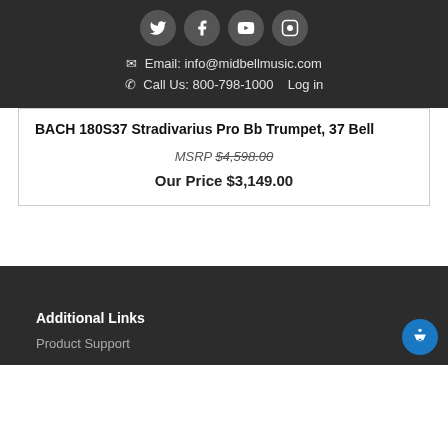[Figure (other): Social media icons: Twitter, Facebook, YouTube, Instagram in circular grey buttons]
✉ Email: info@midbellmusic.com
✆ Call Us: 800-798-1000   Log in
BACH 180S37 Stradivarius Pro Bb Trumpet, 37 Bell
MSRP $4,598.00
Our Price $3,149.00
Additional Links
Product Support